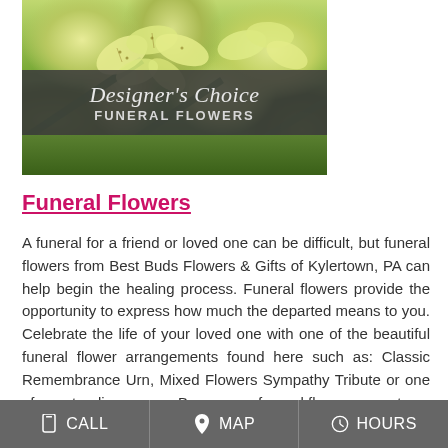[Figure (photo): Designer's Choice Funeral Flowers banner image showing yellow and green floral arrangement with dark overlay banner text]
Funeral Flowers
A funeral for a friend or loved one can be difficult, but funeral flowers from Best Buds Flowers & Gifts of Kylertown, PA can help begin the healing process. Funeral flowers provide the opportunity to express how much the departed means to you. Celebrate the life of your loved one with one of the beautiful funeral flower arrangements found here such as: Classic Remembrance Urn, Mixed Flowers Sympathy Tribute or one of our standing sprays. Browse our funeral flowers page to
CALL   MAP   HOURS